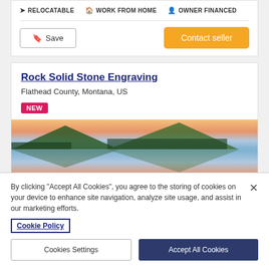RELOCATABLE   WORK FROM HOME   OWNER FINANCED
Save   Contact seller
Rock Solid Stone Engraving
Flathead County, Montana, US
NEW
[Figure (photo): Scenic lake with mountain and sunset reflection]
By clicking "Accept All Cookies", you agree to the storing of cookies on your device to enhance site navigation, analyze site usage, and assist in our marketing efforts.
Cookie Policy
Cookies Settings   Accept All Cookies